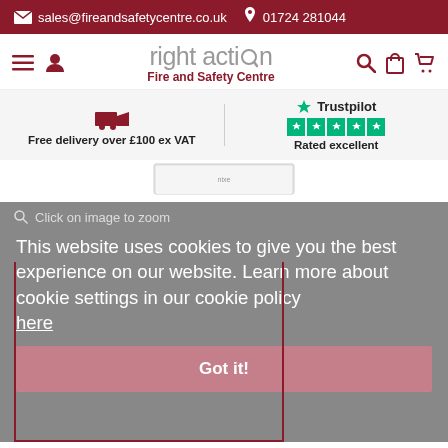sales@fireandsafetycentre.co.uk  01724 281044
[Figure (logo): Right Action Fire and Safety Centre logo with hamburger menu and user icon on left, search/bag/basket icons on right]
Free delivery over £100 ex VAT
[Figure (other): Trustpilot logo with 5 green stars and text Rated excellent]
[Figure (photo): Partial product image visible at bottom of white section]
Click on image to zoom
This website uses cookies to give you the best experience on our website. Learn more about cookie settings in our cookie policy here
Got it!